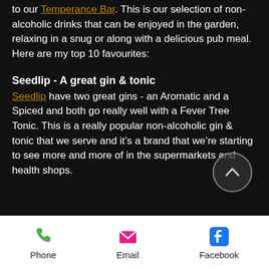to our Temperance Bar. This is our selection of non-alcoholic drinks that can be enjoyed in the garden, relaxing in a snug or along with a delicious pub meal. Here are my top 10 favourites:
Seedlip - A great gin & tonic
Seedlip have two great gins - an Aromatic and a Spiced and both go really well with a Fever Tree Tonic. This is a really popular non-alcoholic gin & tonic that we serve and it's a brand that we're starting to see more and more of in the supermarkets and health shops.
Phone | Email | Facebook